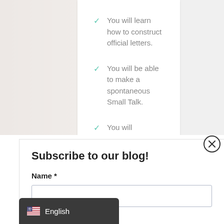You will learn how to construct official letters.
You will be able to make a spontaneous Small Talk.
You will understand the content of an industry article or podcast.
Subscribe to our blog!
Name *